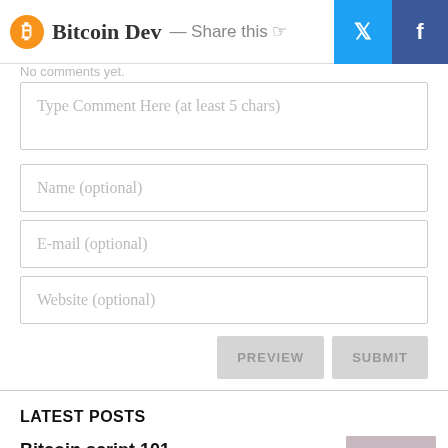Bitcoin Dev — Share this 🖰
Type Comment Here (at least 5 chars)
Name (optional)
E-mail (optional)
Website (optional)
PREVIEW   SUBMIT
LATEST POSTS
Bitcoin script 101
JULY 01, 2020